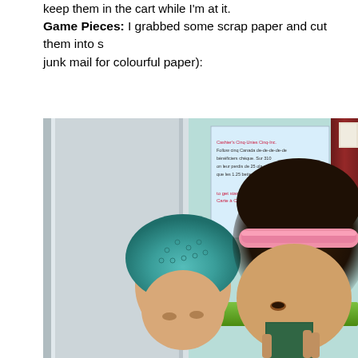keep them in the cart while I'm at it.
Game Pieces: I grabbed some scrap paper and cut them into s… junk mail for colourful paper):
[Figure (photo): Two children in a store. The child on the left wears a teal/turquoise crocheted hat and looks down. The child on the right has dark hair with a pink headband and holds a green piece of paper card up near their face. In the background is a store sign/banner with text, a silver door panel, and a green stripe at the bottom of the banner.]